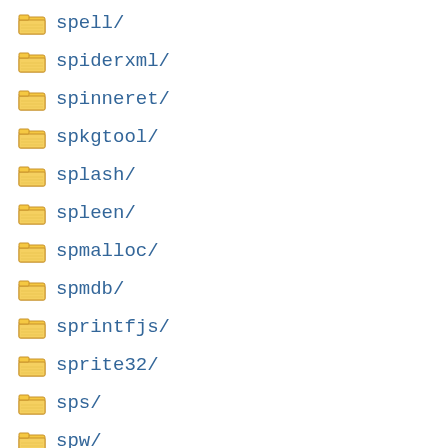spell/
spiderxml/
spinneret/
spkgtool/
splash/
spleen/
spmalloc/
spmdb/
sprintfjs/
sprite32/
sps/
spw/
sqbf/
sqdownloader/